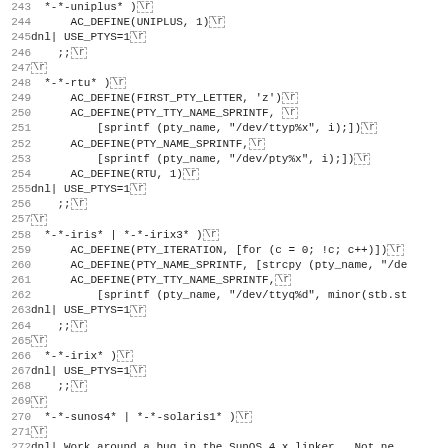[Figure (screenshot): Source code viewer showing lines 243-274 of a shell/autoconf script with line numbers on the left and code content on the right, including  markers shown as boxed \r tokens]